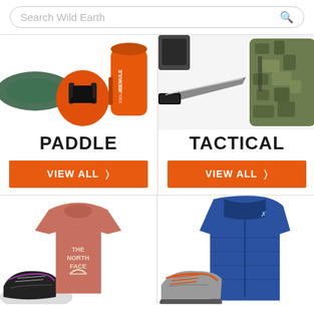Search Wild Earth
[Figure (photo): Paddle sports gear: orange life vest/PFD, orange ICEMULE cooler, inflatable boat in background]
PADDLE
VIEW ALL >
[Figure (photo): Tactical gear: knife/blade, camouflage backpack/vest, black gloves]
TACTICAL
VIEW ALL >
[Figure (photo): Women's clothing and footwear: The North Face pink/dusty rose t-shirt, black athletic shoes with purple accents]
[Figure (photo): Men's gear: blue Arc'teryx down jacket, orange and grey trail running shoes]